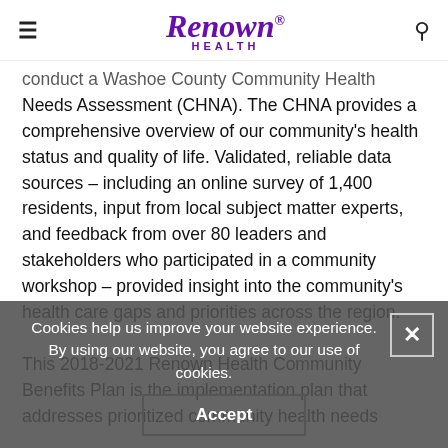Renown Health
conduct a Washoe County Community Health Needs Assessment (CHNA). The CHNA provides a comprehensive overview of our community's health status and quality of life. Validated, reliable data sources – including an online survey of 1,400 residents, input from local subject matter experts, and feedback from over 80 leaders and stakeholders who participated in a community workshop – provided insight into the community's health care gaps and priorities across the region.
This 2018-2021 Renown Health Community Benefits Plan is the implementation plan that addresses prioritized community health needs
Cookies help us improve your website experience.
By using our website, you agree to our use of cookies.